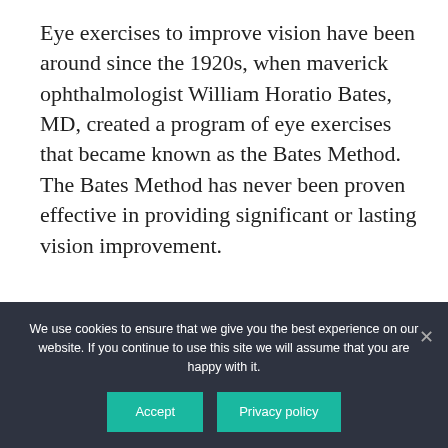Eye exercises to improve vision have been around since the 1920s, when maverick ophthalmologist William Horatio Bates, MD, created a program of eye exercises that became known as the Bates Method. The Bates Method has never been proven effective in providing significant or lasting vision improvement.
[Figure (infographic): Pro-Papers homework help advertisement banner with teal background buttons, NOW/WITH/15%/OFF discount tags in teal, yellow, and dark blue, and an ORDER button on the right.]
We use cookies to ensure that we give you the best experience on our website. If you continue to use this site we will assume that you are happy with it.